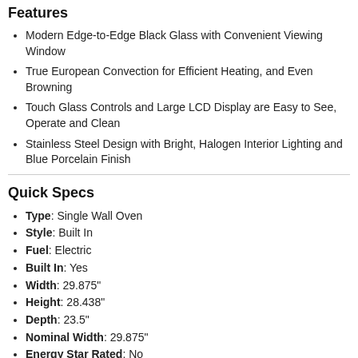Features
Modern Edge-to-Edge Black Glass with Convenient Viewing Window
True European Convection for Efficient Heating, and Even Browning
Touch Glass Controls and Large LCD Display are Easy to See, Operate and Clean
Stainless Steel Design with Bright, Halogen Interior Lighting and Blue Porcelain Finish
Quick Specs
Type: Single Wall Oven
Style: Built In
Fuel: Electric
Built In: Yes
Width: 29.875"
Height: 28.438"
Depth: 23.5"
Nominal Width: 29.875"
Energy Star Rated: No
Self Clean: Yes
Convection: Yes
First Oven: 5.0 cu. ft.
Hidden Bake Element: Yes